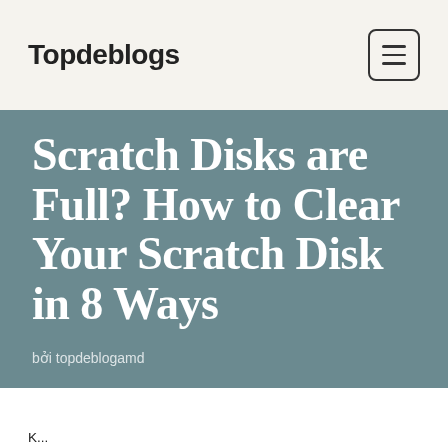Topdeblogs
Scratch Disks are Full? How to Clear Your Scratch Disk in 8 Ways
bởi topdeblogamd
K...